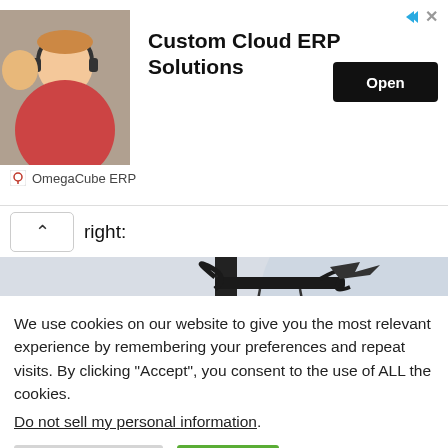[Figure (screenshot): Ad banner for OmegaCube ERP with Custom Cloud ERP Solutions heading, photo of customer service representative, and Open button]
right:
[Figure (photo): Photo of a tavern sign reading 'BADLY AIM TAVERN' with ornate ironwork bracket and a figure wearing a pirate hat visible]
We use cookies on our website to give you the most relevant experience by remembering your preferences and repeat visits. By clicking “Accept”, you consent to the use of ALL the cookies.
Do not sell my personal information.
Cookie Settings
Accept